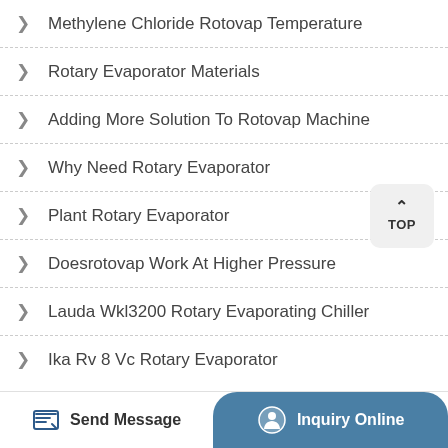Methylene Chloride Rotovap Temperature
Rotary Evaporator Materials
Adding More Solution To Rotovap Machine
Why Need Rotary Evaporator
Plant Rotary Evaporator
Doesrotovap Work At Higher Pressure
Lauda Wkl3200 Rotary Evaporating Chiller
Ika Rv 8 Vc Rotary Evaporator
Send Message | Inquiry Online